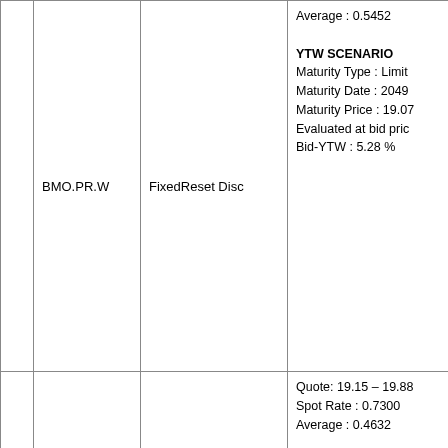|  | Ticker | Type | Info |
| --- | --- | --- | --- |
|  | BMO.PR.W | FixedReset Disc | Average : 0.5452
YTW SCENARIO
Maturity Type : Limit
Maturity Date : 2049
Maturity Price : 19.07
Evaluated at bid price
Bid-YTW : 5.28 % |
|  | TD.PF.C | FixedReset Disc | Quote: 19.15 – 19.88
Spot Rate : 0.7300
Average : 0.4632
YTW SCENARIO
Maturity Type : Limit
Maturity Date : 2049
Maturity Price : 19.15
Evaluated at bid price
Bid-YTW : 5.31 % |
|  | RY.PR.S | FixedReset Disc | Quote: 22.50 – 23.20
Spot Rate : 0.7000
Average : 0.4368
YTW SCENARIO
Maturity Type : Limit
Maturity Date : 2049 |